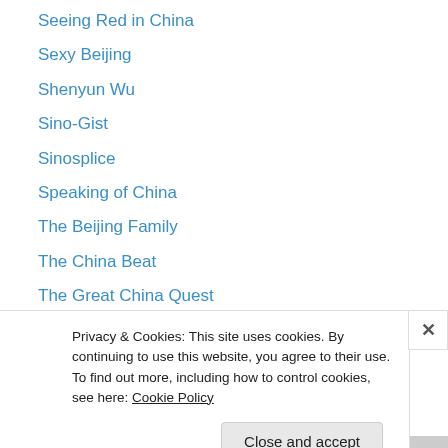Seeing Red in China
Sexy Beijing
Shenyun Wu
Sino-Gist
Sinosplice
Speaking of China
The Beijing Family
The China Beat
The Great China Quest
The Peking Duck
The View from Taiwan
Unabashedly Addicted to Asian Entertainment
Understanding China, One Blog at a Time – An American in China
Privacy & Cookies: This site uses cookies. By continuing to use this website, you agree to their use.
To find out more, including how to control cookies, see here: Cookie Policy
Close and accept